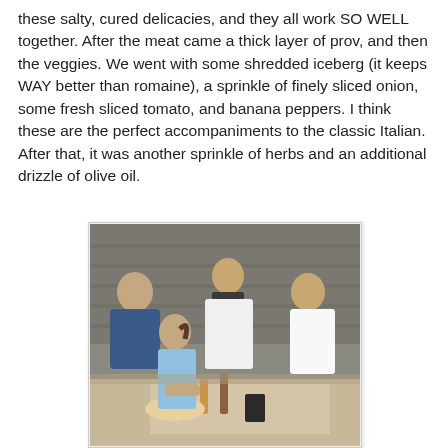these salty, cured delicacies, and they all work SO WELL together. After the meat came a thick layer of prov, and then the veggies. We went with some shredded iceberg (it keeps WAY better than romaine), a sprinkle of finely sliced onion, some fresh sliced tomato, and banana peppers. I think these are the perfect accompaniments to the classic Italian. After that, it was another sprinkle of herbs and an additional drizzle of olive oil.
[Figure (photo): Four people (three men and a girl) gathered around a table outdoors, appearing to prepare or assemble food. Brick wall in background. Table has various food items, bottles, and a dark cup.]